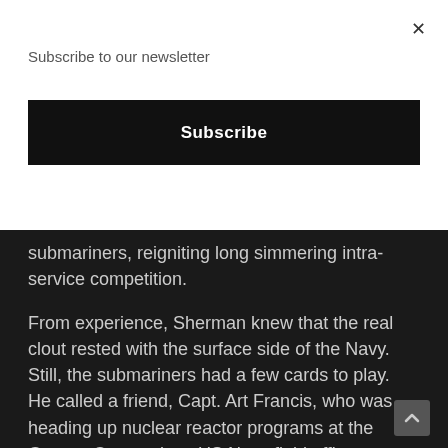Subscribe to our newsletter
Subscribe
submariners, reigniting long simmering intra-service competition.
From experience, Sherman knew that the real clout rested with the surface side of the Navy.  Still, the submariners had a few cards to play.  He called a friend, Capt. Art Francis, who was heading up nuclear reactor programs at the Groton, Connecticut, US Navy field office supporting Electric Boat (one of the Navy's